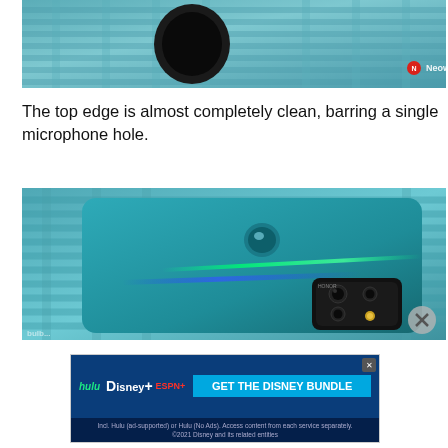[Figure (photo): Close-up photo of the top edge of a teal/blue smartphone showing a round microphone hole cutout, placed on a woven mat background. Neowin watermark visible in lower right.]
The top edge is almost completely clean, barring a single microphone hole.
[Figure (photo): Photo of the back of a teal green smartphone showing a fingerprint sensor, a green light streak, and a square camera module with multiple lenses, placed on a woven mat background.]
[Figure (other): Advertisement banner for Disney Bundle featuring Hulu, Disney+, ESPN+ logos and 'GET THE DISNEY BUNDLE' call to action button with small print below.]